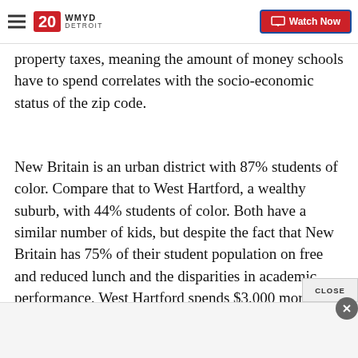WMYD DETROIT — Watch Now
property taxes, meaning the amount of money schools have to spend correlates with the socio-economic status of the zip code.
New Britain is an urban district with 87% students of color. Compare that to West Hartford, a wealthy suburb, with 44% students of color. Both have a similar number of kids, but despite the fact that New Britain has 75% of their student population on free and reduced lunch and the disparities in academic performance, West Hartford spends $3,000 more per student.